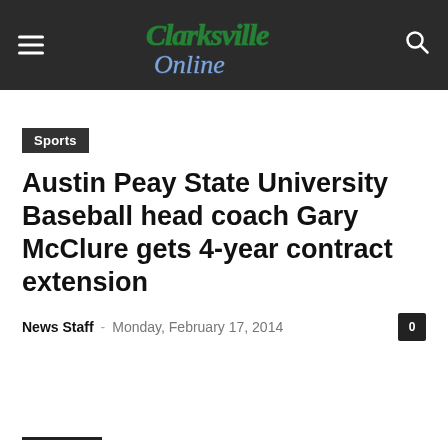Clarksville Online
Sports
Austin Peay State University Baseball head coach Gary McClure gets 4-year contract extension
News Staff - Monday, February 17, 2014